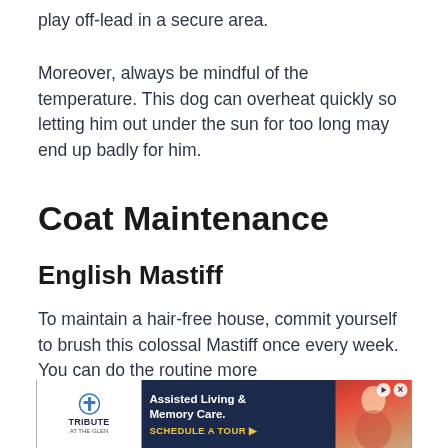play off-lead in a secure area.
Moreover, always be mindful of the temperature. This dog can overheat quickly so letting him out under the sun for too long may end up badly for him.
Coat Maintenance
English Mastiff
To maintain a hair-free house, commit yourself to brush this colossal Mastiff once every week. You can do the routine more
[Figure (other): Advertisement banner for Tribute at the Glen - Assisted Living & Memory Care with Schedule a Tour call-to-action]